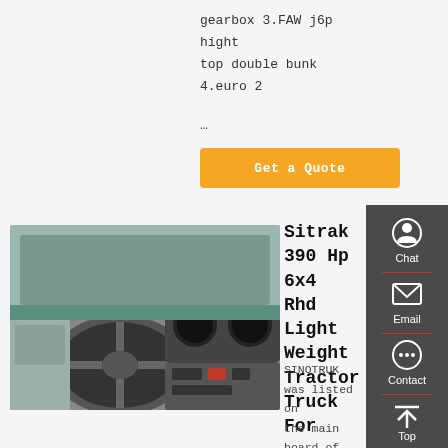gearbox 3.FAW j6p hight top double bunk 4.euro 2
…
Get a Quote
[Figure (photo): Interior dashboard view of a Sitrak truck cab showing steering wheel and instrument panel]
Sitrak 390 Hp 6x4 Rhd Light Weight Tractor Truck For
SINOTRUK was listed on the main board of HKSE in 2007. Its parent company China National Heavy Duty Truck Group
Chat
Email
Contact
Top